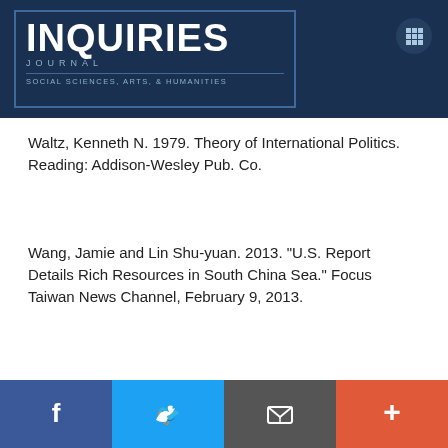INQUIRIES JOURNAL — SOCIAL SCIENCES, ARTS, & HUMANITIES
Waltz, Kenneth N. 1979. Theory of International Politics. Reading: Addison-Wesley Pub. Co.
Wang, Jamie and Lin Shu-yuan. 2013. "U.S. Report Details Rich Resources in South China Sea." Focus Taiwan News Channel, February 9, 2013.
Wendt, Alexander. 1999. Social Theory of International Politics. [Cambridge University] Press.
[...] ructing International Politics. [...] 81.
[Figure (screenshot): Embedded video player showing a classroom scene with a teacher at a piano and children seated, with a play button overlay. A small yellow badge icon appears in the top-right of the video.]
Social sharing bar: Facebook, Twitter, Email, Plus